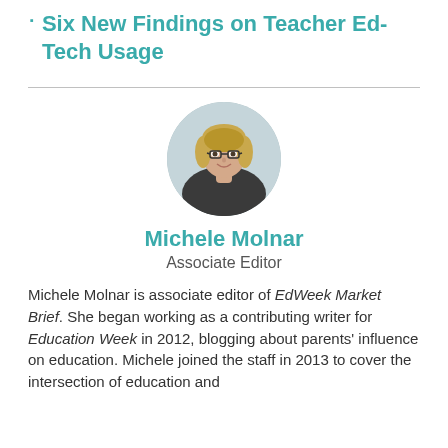Six New Findings on Teacher Ed-Tech Usage
[Figure (photo): Circular headshot photo of Michele Molnar, a woman with short blonde hair and glasses, smiling.]
Michele Molnar
Associate Editor
Michele Molnar is associate editor of EdWeek Market Brief. She began working as a contributing writer for Education Week in 2012, blogging about parents' influence on education. Michele joined the staff in 2013 to cover the intersection of education and